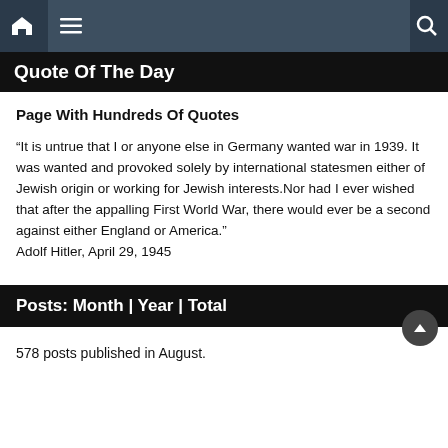Quote Of The Day
Page With Hundreds Of Quotes
“It is untrue that I or anyone else in Germany wanted war in 1939. It was wanted and provoked solely by international statesmen either of Jewish origin or working for Jewish interests.Nor had I ever wished that after the appalling First World War, there would ever be a second against either England or America.”
Adolf Hitler, April 29, 1945
Posts: Month | Year | Total
578 posts published in August.